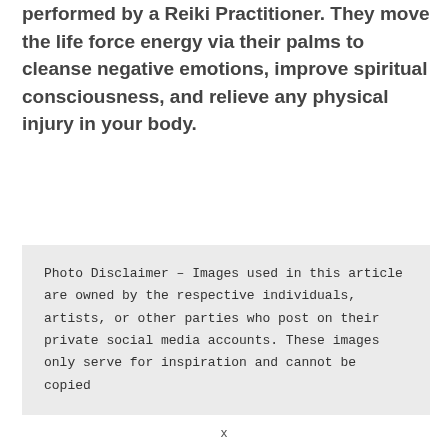Reiki is a type of energy healing technique performed by a Reiki Practitioner. They move the life force energy via their palms to cleanse negative emotions, improve spiritual consciousness, and relieve any physical injury in your body.
Photo Disclaimer – Images used in this article are owned by the respective individuals, artists, or other parties who post on their private social media accounts. These images only serve for inspiration and cannot be copied
x